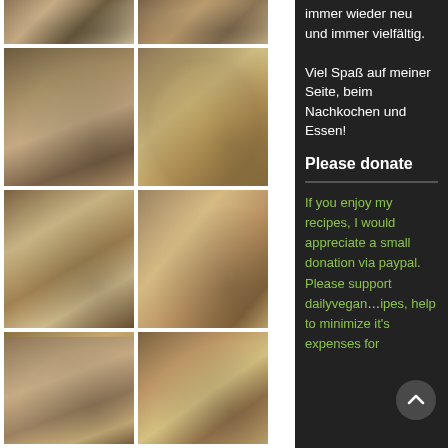[Figure (photo): Grid of food photos showing vegan dishes — pies, wraps, and pastries with lemon wedges and red garnish]
immer wieder neu und immer vielfältig.
Viel Spaß auf meiner Seite, beim Nachkochen und Essen!
Please donate
If you enjoy my recipes, I would appreciate a small donation via paypal. Please support dailyvegan…ipes, help to minimize it's expenses for